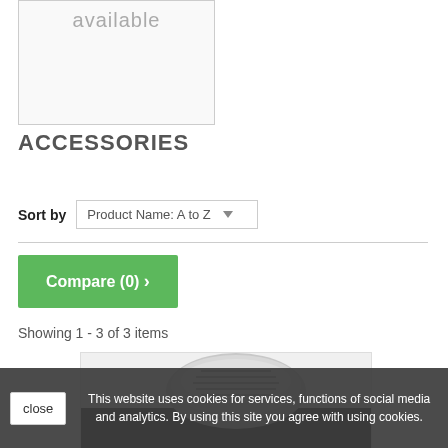[Figure (other): Placeholder image box with text 'available']
ACCESSORIES
Sort by   Product Name: A to Z
Compare (0) >
Showing 1 - 3 of 3 items
[Figure (photo): Product image showing a screw or connector accessory on dark background]
This website uses cookies for services, functions of social media and analytics. By using this site you agree with using cookies.